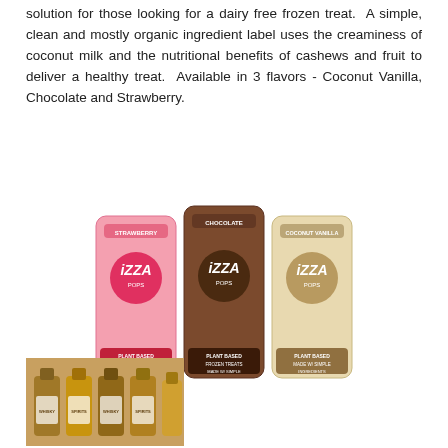solution for those looking for a dairy free frozen treat. A simple, clean and mostly organic ingredient label uses the creaminess of coconut milk and the nutritional benefits of cashews and fruit to deliver a healthy treat. Available in 3 flavors - Coconut Vanilla, Chocolate and Strawberry.
[Figure (photo): Three IZZA Pops frozen treat packages: Strawberry (pink), Chocolate (brown), and Coconut Vanilla (tan/cream). Each package shows the IZZA Pops logo and 'Plant Based Frozen Treats' text.]
[Figure (photo): Photo of several bottles of what appears to be whiskey or spirits arranged on a shelf or display.]